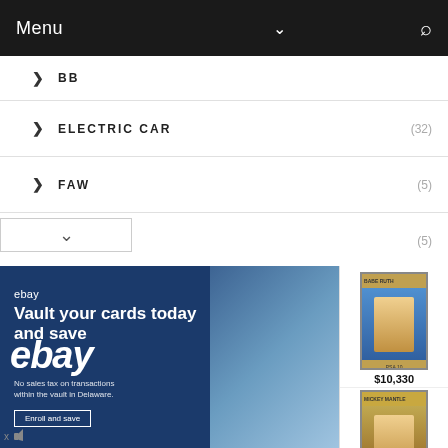Menu
BB
ELECTRIC CAR (32)
FAW (5)
FERRARI (5)
FIAT (7)
FISKER (2)
FORD (27)
GAC (9)
GEELY (17)
[Figure (screenshot): eBay advertisement banner: 'Vault your cards today and save. No sales tax on transactions within the vault in Delaware.' with two PSA-graded baseball cards priced at $10,330 and $101,050]